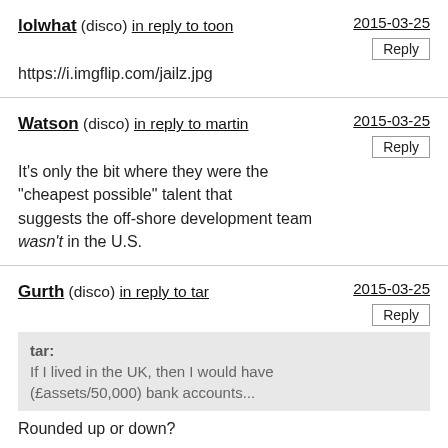lolwhat (disco) in reply to toon
https://i.imgflip.com/jailz.jpg
2015-03-25
[Reply]
Watson (disco) in reply to martin
It's only the bit where they were the "cheapest possible" talent that suggests the off-shore development team wasn't in the U.S.
2015-03-25
[Reply]
Gurth (disco) in reply to tar
tar: If I lived in the UK, then I would have (£assets/50,000) bank accounts...
Rounded up or down?
2015-03-25
[Reply]